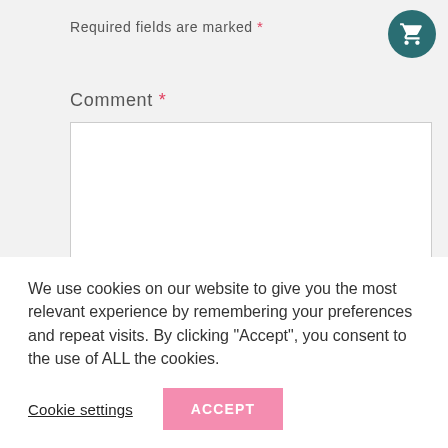Required fields are marked *
Comment *
[Figure (screenshot): Empty comment text area input box with resize handle at bottom right]
We use cookies on our website to give you the most relevant experience by remembering your preferences and repeat visits. By clicking “Accept”, you consent to the use of ALL the cookies.
Cookie settings
ACCEPT